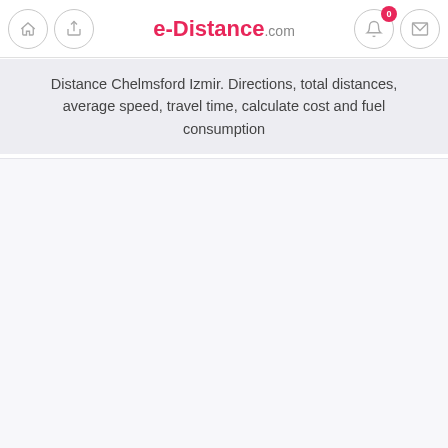e-Distance.com
Distance Chelmsford Izmir. Directions, total distances, average speed, travel time, calculate cost and fuel consumption